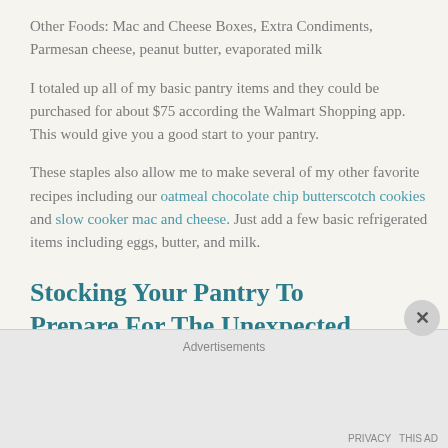Other Foods: Mac and Cheese Boxes, Extra Condiments, Parmesan cheese, peanut butter, evaporated milk
I totaled up all of my basic pantry items and they could be purchased for about $75 according the Walmart Shopping app. This would give you a good start to your pantry.
These staples also allow me to make several of my other favorite recipes including our oatmeal chocolate chip butterscotch cookies and slow cooker mac and cheese. Just add a few basic refrigerated items including eggs, butter, and milk.
Stocking Your Pantry To Prepare For The Unexpected
Advertisements